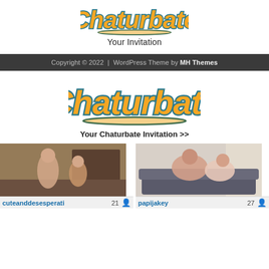[Figure (logo): Chaturbate logo (partial, top crop) - orange/yellow bubbly text with teal outline]
Your Invitation
Copyright © 2022 | WordPress Theme by MH Themes
[Figure (logo): Chaturbate logo - orange/yellow bubbly text with teal outline, full logo visible]
Your Chaturbate Invitation >>
[Figure (photo): Webcam thumbnail showing two people in a room with brick wall background]
[Figure (photo): Webcam thumbnail showing people on a couch/sofa]
cuteanddesesperati  21 👤
papijakey  27 👤